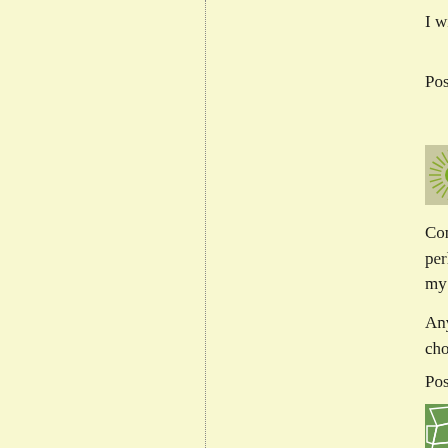I will wave to my favorite
Posted by: soultravelers3
[Figure (illustration): Green sunburst avatar icon with radiating lines and a green circle center on a light background]
Congrats on the new blog. perhaps because I used to read in my family's van ca
Anyway, it's nice to say be choices and priorities imm
Posted by: Renee | April 1
[Figure (illustration): Green mosaic/stones pattern avatar icon with irregular polygon shapes on green background]